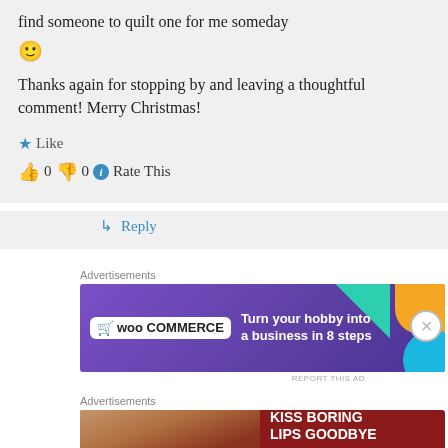find someone to quilt one for me someday 🙂
Thanks again for stopping by and leaving a thoughtful comment! Merry Christmas!
★ Like
👍 0 👎 0 ℹ Rate This
↳ Reply
Advertisements
[Figure (screenshot): WooCommerce advertisement banner: 'Turn your hobby into a business in 8 steps']
REPORT THIS AD
Advertisements
[Figure (screenshot): Macy's advertisement banner: 'KISS BORING LIPS GOODBYE' with SHOP NOW button]